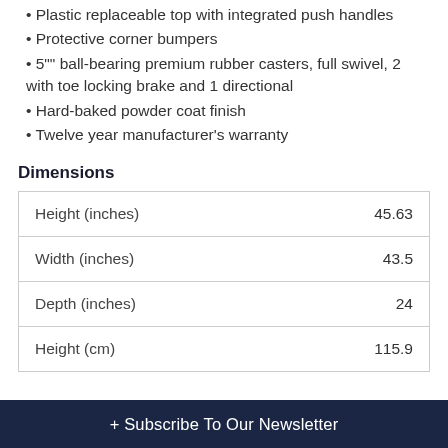• Plastic replaceable top with integrated push handles
• Protective corner bumpers
• 5"" ball-bearing premium rubber casters, full swivel, 2 with toe locking brake and 1 directional
• Hard-baked powder coat finish
• Twelve year manufacturer's warranty
Dimensions
|  |  |
| --- | --- |
| Height (inches) | 45.63 |
| Width (inches) | 43.5 |
| Depth (inches) | 24 |
| Height (cm) | 115.9 |
+ Subscribe To Our Newsletter